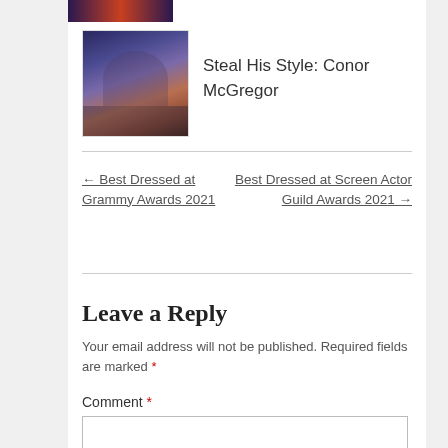[Figure (photo): Small thumbnail image of colorful background at top]
[Figure (photo): Thumbnail photo of Conor McGregor in a suit]
Steal His Style: Conor McGregor
← Best Dressed at Grammy Awards 2021
Best Dressed at Screen Actor Guild Awards 2021 →
Leave a Reply
Your email address will not be published. Required fields are marked *
Comment *